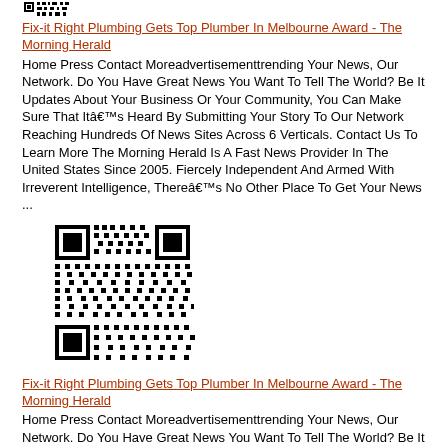[Figure (other): Partial QR code or barcode image at top]
Fix-it Right Plumbing Gets Top Plumber In Melbourne Award - The Morning Herald
Home Press Contact Moreadvertisementtrending Your News, Our Network. Do You Have Great News You Want To Tell The World? Be It Updates About Your Business Or Your Community, You Can Make Sure That Itâ€™s Heard By Submitting Your Story To Our Network Reaching Hundreds Of News Sites Across 6 Verticals. Contact Us To Learn More The Morning Herald Is A Fast News Provider In The United States Since 2005. Fiercely Independent And Armed With Irreverent Intelligence, Thereâ€™s No Other Place To Get Your News ...
[Figure (other): QR code image]
Fix-it Right Plumbing Gets Top Plumber In Melbourne Award - The Morning Herald
Home Press Contact Moreadvertisementtrending Your News, Our Network. Do You Have Great News You Want To Tell The World? Be It Updates About Your Business Or Your Community, You Can Make Sure That Itâ€™s Heard By Submitting Your Story To Our Network Reaching Hundreds Of News Sites Across 6 Verticals. Contact Us To Learn More The Morning Herald Is A Fast News Provider In The United States Since 2005. Fiercely Independent And Armed With Irreverent Intelligence, Thereâ€™s No Other Place To Get Your News ...